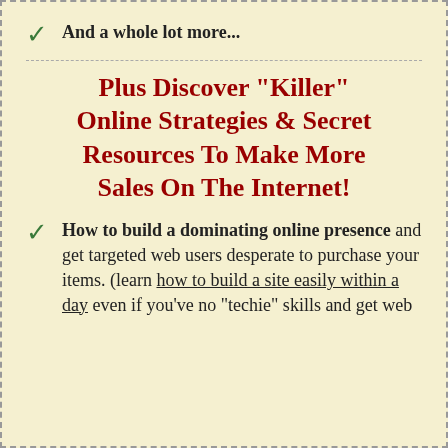And a whole lot more...
Plus Discover "Killer" Online Strategies & Secret Resources To Make More Sales On The Internet!
How to build a dominating online presence and get targeted web users desperate to purchase your items. (learn how to build a site easily within a day even if you've no "techie" skills and get web